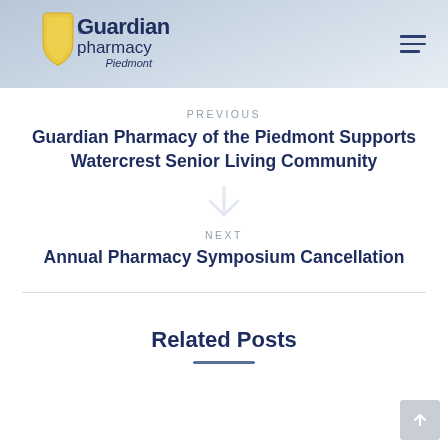Guardian Pharmacy Piedmont
PREVIOUS
Guardian Pharmacy of the Piedmont Supports Watercrest Senior Living Community
NEXT
Annual Pharmacy Symposium Cancellation
Related Posts